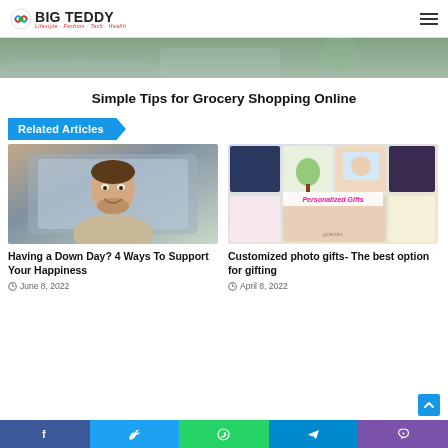BIG TEDDY — Lifestyle Fashion Tech Health
[Figure (photo): Top partial hero image — person near car window, outdoor background]
Simple Tips for Grocery Shopping Online
Related Articles
[Figure (photo): Man smiling in a car window — left article card image]
Having a Down Day? 4 Ways To Support Your Happiness
June 8, 2022
[Figure (photo): Collage of personalized gifts with text 'Personalized Gifts' — right article card image]
Customized photo gifts- The best option for gifting
April 8, 2022
Social share bar: Facebook, Twitter, WhatsApp, Telegram, Viber